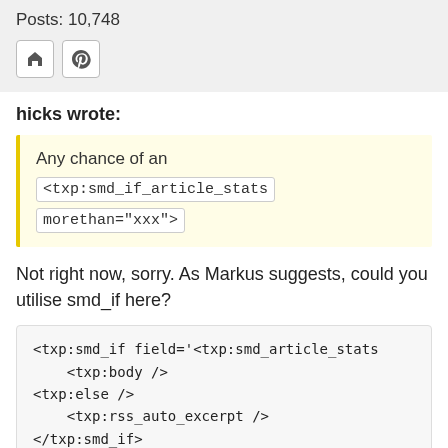Posts: 10,748
hicks wrote:
Any chance of an <txp:smd_if_article_stats morethan="xxx">
Not right now, sorry. As Markus suggests, could you utilise smd_if here?
<txp:smd_if field='<txp:smd_article_stats
    <txp:body />
<txp:else />
    <txp:rss_auto_excerpt />
</txp:smd_if>